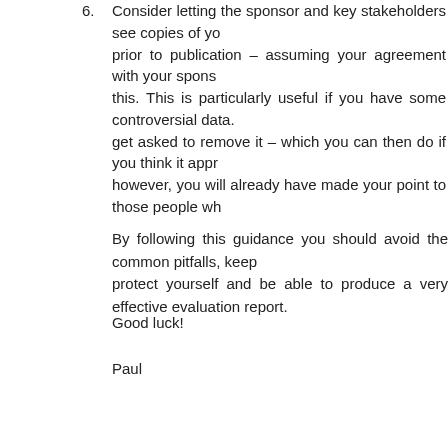6. Consider letting the sponsor and key stakeholders see copies of your report prior to publication – assuming your agreement with your sponsor allows this. This is particularly useful if you have some controversial data. You may get asked to remove it – which you can then do if you think it appropriate; however, you will already have made your point to those people who matter.
By following this guidance you should avoid the common pitfalls, keep protect yourself and be able to produce a very effective evaluation report.
Good luck!
Paul
Tags: evaluation, sponsor
Posted in Resources – L&D Management, Resources – Trainers | No Comments
How do I ask that?
Wednesday, October 13th, 2010
On the community forums where I often post comments I spend a significant proportion of the time answering or offering thoughts on learning and development evaluation. This then leads to me receiving other personal emails regarding the subject. One of the key areas that appears to be problematic for a number of people relates to questionnaire writing.
I have formed this opinion both from the questions I have been asked and seeing some of the questionnaires that people have asked me to comment on.